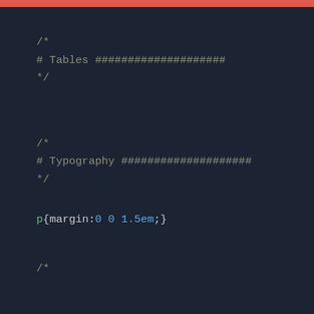[Figure (screenshot): Dark-themed code editor screenshot showing CSS source code with a red accent bar at the top. Contains two CSS comment blocks (Tables section and Typography section) and one CSS rule: p{margin:0 0 1.5em;}]
/*
# Tables ####################
*/
/*
# Typography ####################
*/
p{margin:0 0 1.5em;}
/*